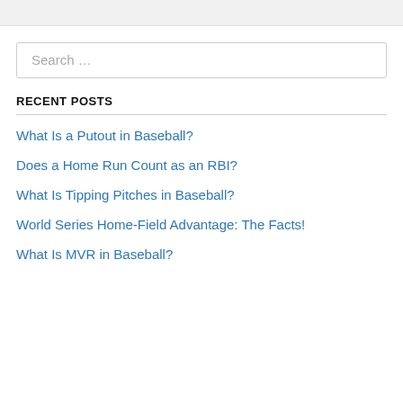RECENT POSTS
What Is a Putout in Baseball?
Does a Home Run Count as an RBI?
What Is Tipping Pitches in Baseball?
World Series Home-Field Advantage: The Facts!
What Is MVR in Baseball?